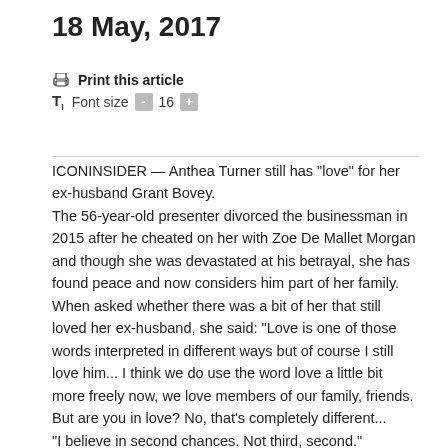18 May, 2017
Print this article
Font size  -  16  +
ICONINSIDER — Anthea Turner still has “love” for her ex-husband Grant Bovey.
The 56-year-old presenter divorced the businessman in 2015 after he cheated on her with Zoe De Mallet Morgan and though she was devastated at his betrayal, she has found peace and now considers him part of her family.
When asked whether there was a bit of her that still loved her ex-husband, she said: “Love is one of those words interpreted in different ways but of course I still love him... I think we do use the word love a little bit more freely now, we love members of our family, friends. But are you in love? No, that’s completely different...
“I believe in second chances. Not third, second.”
The former GMTV host is releasing her book ‘How to Survive Divorce’ and admitted she was “struggling” to cope with the split last year and acted out by drinking, staying in bed and doing "everything that really relates to the use of self-